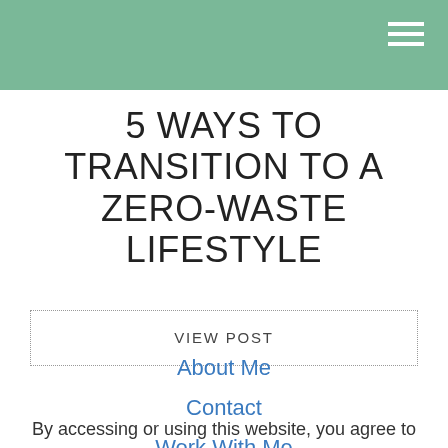5 WAYS TO TRANSITION TO A ZERO-WASTE LIFESTYLE
VIEW POST
About Me
Contact
Work With Me
By accessing or using this website, you agree to